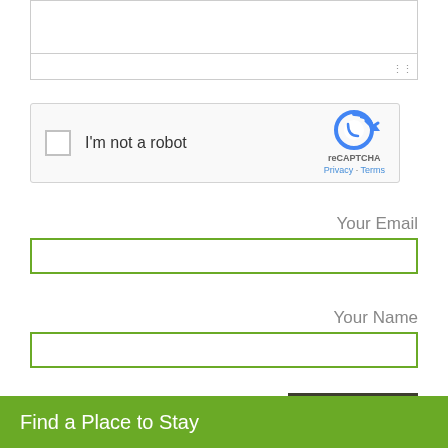[Figure (screenshot): Top portion of a textarea/text input field with resize handle at bottom right]
[Figure (screenshot): reCAPTCHA widget with checkbox labeled 'I'm not a robot' and reCAPTCHA logo with Privacy and Terms links]
Your Email
[Figure (screenshot): Email text input field with green border]
Your Name
[Figure (screenshot): Name text input field with green border]
SUBMIT
Find a Place to Stay